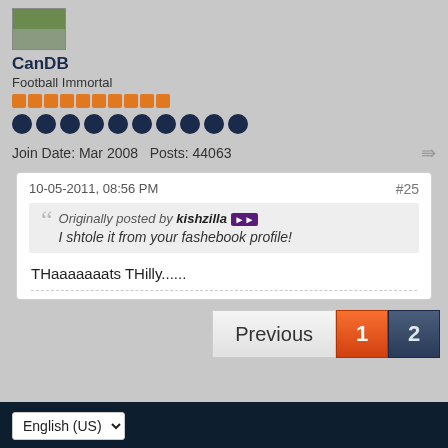[Figure (photo): User avatar thumbnail showing a partially visible outdoor/green scene image]
CanDB
Football Immortal
Rep bar: 10 orange pips
10 navy dots
Join Date: Mar 2008   Posts: 44063
10-05-2011, 08:56 PM
#25
Originally posted by kishzilla
I shtole it from your fashebook profile!
THaaaaaaats THilly......
Previous  1  2
English (US)